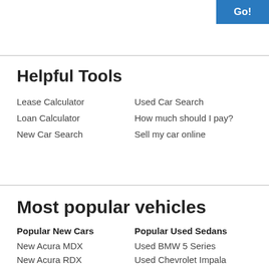Go!
Helpful Tools
Lease Calculator
Used Car Search
Loan Calculator
How much should I pay?
New Car Search
Sell my car online
Most popular vehicles
Popular New Cars
Popular Used Sedans
New Acura MDX
Used BMW 5 Series
New Acura RDX
Used Chevrolet Impala